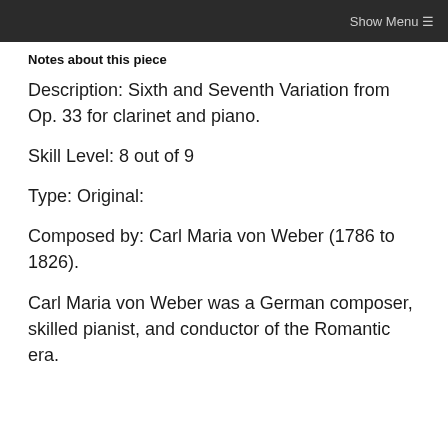Show Menu ☰
Notes about this piece
Description: Sixth and Seventh Variation from Op. 33 for clarinet and piano.
Skill Level: 8 out of 9
Type: Original:
Composed by: Carl Maria von Weber (1786 to 1826).
Carl Maria von Weber was a German composer, skilled pianist, and conductor of the Romantic era.